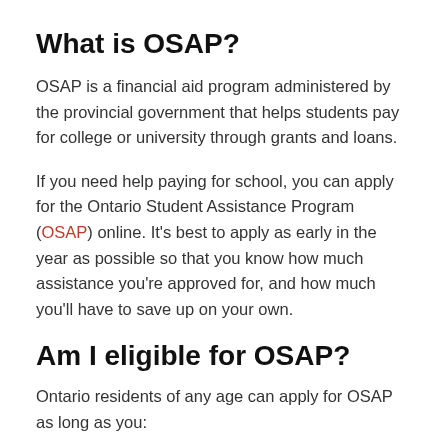What is OSAP?
OSAP is a financial aid program administered by the provincial government that helps students pay for college or university through grants and loans.
If you need help paying for school, you can apply for the Ontario Student Assistance Program (OSAP) online. It's best to apply as early in the year as possible so that you know how much assistance you're approved for, and how much you'll have to save up on your own.
Am I eligible for OSAP?
Ontario residents of any age can apply for OSAP as long as you: